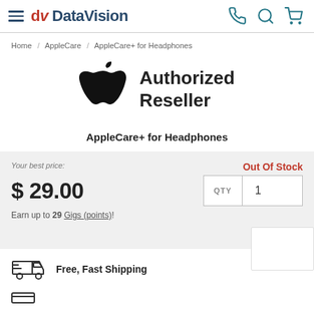DataVision
Home / AppleCare / AppleCare+ for Headphones
[Figure (logo): Apple logo with Authorized Reseller text]
AppleCare+ for Headphones
Your best price:
Out Of Stock
$ 29.00
Earn up to 29 Gigs (points)!
Free, Fast Shipping